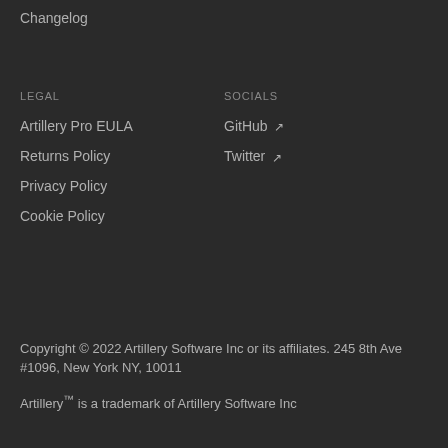Changelog
LEGAL
SOCIALS
Artillery Pro EULA
GitHub ↗
Returns Policy
Twitter ↗
Privacy Policy
Cookie Policy
Copyright © 2022 Artillery Software Inc or its affiliates. 245 8th Ave #1096, New York NY, 10011
Artillery™ is a trademark of Artillery Software Inc